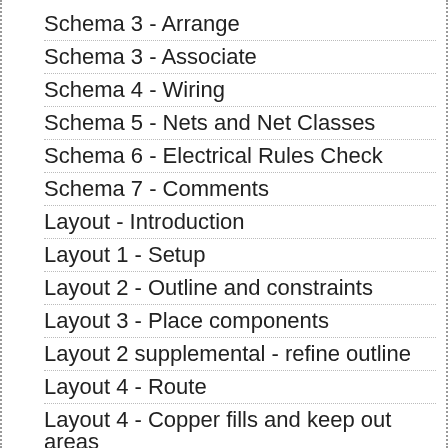Schema 3 - Arrange
Schema 3 - Associate
Schema 4 - Wiring
Schema 5 - Nets and Net Classes
Schema 6 - Electrical Rules Check
Schema 7 - Comments
Layout - Introduction
Layout 1 - Setup
Layout 2 - Outline and constraints
Layout 3 - Place components
Layout 2 supplemental - refine outline
Layout 4 - Route
Layout 4 - Copper fills and keep out areas
Layout 5 - Silkscreen